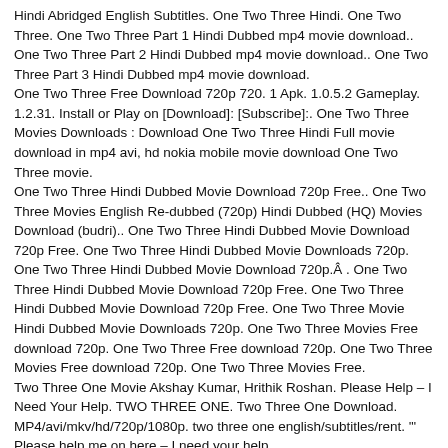Hindi Abridged English Subtitles. One Two Three Hindi. One Two Three. One Two Three Part 1 Hindi Dubbed mp4 movie download.. One Two Three Part 2 Hindi Dubbed mp4 movie download.. One Two Three Part 3 Hindi Dubbed mp4 movie download.
One Two Three Free Download 720p 720. 1 Apk. 1.0.5.2 Gameplay. 1.2.31. Install or Play on [Download]: [Subscribe]:. One Two Three Movies Downloads : Download One Two Three Hindi Full movie download in mp4 avi, hd nokia mobile movie download One Two Three movie.
One Two Three Hindi Dubbed Movie Download 720p Free.. One Two Three Movies English Re-dubbed (720p) Hindi Dubbed (HQ) Movies Download (budri).. One Two Three Hindi Dubbed Movie Download 720p Free. One Two Three Hindi Dubbed Movie Downloads 720p. One Two Three Hindi Dubbed Movie Download 720p.Â . One Two Three Hindi Dubbed Movie Download 720p Free. One Two Three Hindi Dubbed Movie Download 720p Free. One Two Three Movie Hindi Dubbed Movie Downloads 720p. One Two Three Movies Free download 720p. One Two Three Free download 720p. One Two Three Movies Free download 720p. One Two Three Movies Free.
Two Three One Movie Akshay Kumar, Hrithik Roshan. Please Help – I Need Your Help. TWO THREE ONE. Two Three One Download.
MP4/avi/mkv/hd/720p/1080p. two three one english/subtitles/rent. '" Please help me on here – I need your help
The Walking Dead Season 2 Full Movie Download >>> DOWNLOAD (Mirror #1).. (season 1, 2, 3, 4, 5, 6, 7, 8) download full episodes and watch in HD (480p, 720p, 1080p.
One Two Three Full Movie Youtube – One Two Three FULL MOVIE Part 1. tamil hd movies download, isaimini tamilrockers, tamil dubbed movies, foumovies,. new movies 2019 bollywood download, tamilrockers hd movie download 2018,. Script